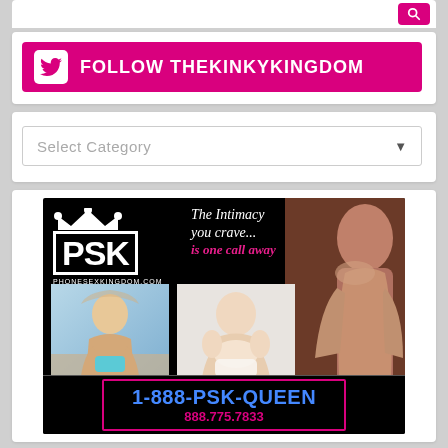[Figure (screenshot): Pink search button icon in top right corner of a web page]
[Figure (screenshot): Pink Twitter Follow banner reading FOLLOW THEKINKYKINGDOM with Twitter bird icon on left]
[Figure (screenshot): Select Category dropdown box]
[Figure (advertisement): PSK PhoneSexKingdom.com advertisement with tagline 'The Intimacy you crave... is one call away', photos of women, phone number 1-888-PSK-QUEEN and 888.775.7833]